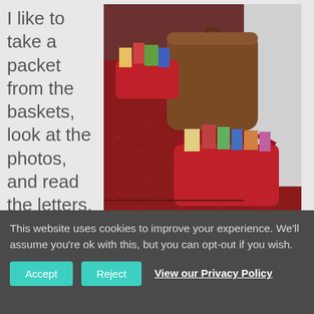I like to take a packet from the baskets, look at the photos, and read the letters. It always sparks memories. Some sad knowing the original writer
[Figure (photo): Photo of red baskets and a brown vintage hat box on a dark red polka dot carpet in a corner, containing packets, letters, and small books.]
This website uses cookies to improve your experience. We'll assume you're ok with this, but you can opt-out if you wish.
Accept  Reject  View our Privacy Policy